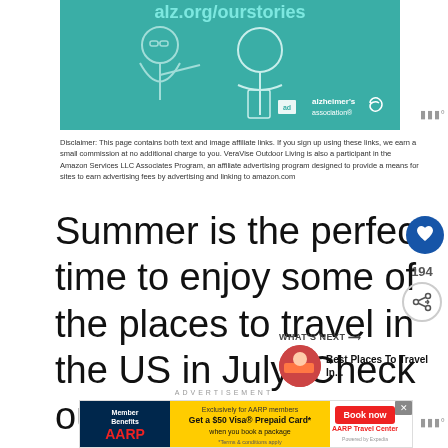[Figure (illustration): Alzheimer's Association advertisement banner showing two illustrated people on a teal background with text 'alz.org/ourstories' and the Alzheimer's association logo]
Disclaimer: This page contains both text and image affiliate links. If you sign up using these links, we earn a small commission at no additional charge to you. VeraVise Outdoor Living is also a participant in the Amazon Services LLC Associates Program, an affiliate advertising program designed to provide a means for sites to earn advertising fees by advertising and linking to amazon.com
Summer is the perfect time to enjoy some of the places to travel in the US in July. Check out this list and begin planning your vacation.
ADVERTISEMENT
[Figure (infographic): AARP Member Benefits advertisement: 'Exclusively for AARP members. Get a $50 Visa Prepaid Card when you book a package. Book now. AARP Travel Center. Powered by Expedia.']